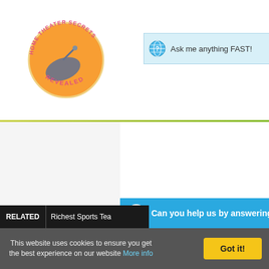[Figure (logo): Home Theater Secrets Revealed circular logo with satellite dish]
Ask me anything FAST!
Can you help us by answering on
1. How do i make my x11 stop playing game
2. How do i stop feedback when playing mus
3. How do i stop the music from playing out l
4. How do stop sound coming into your telev
5. What is the laws time to stop playing loud
6. What time are pubs meant to stop playing
7. How to stop turtle beach playing game vo
8. How do i get my turtle beaches to stop pla
9. Loud music playing at a condo promotion
10. What is the proper time to stop playing mu
RELATED  Richest Sports Tea
This website uses cookies to ensure you get the best experience on our website More info
Got it!